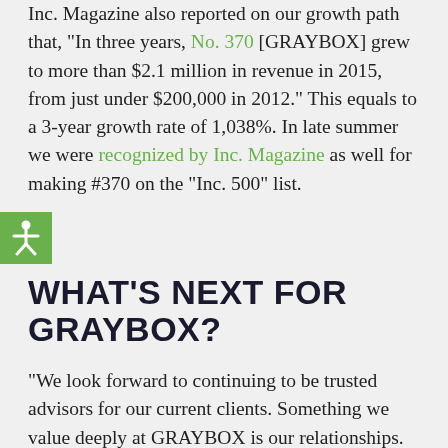Inc. Magazine also reported on our growth path that, "In three years, No. 370 [GRAYBOX] grew to more than $2.1 million in revenue in 2015, from just under $200,000 in 2012." This equals to a 3-year growth rate of 1,038%. In late summer we were recognized by Inc. Magazine as well for making #370 on the "Inc. 500" list.
[Figure (illustration): Green square icon with a white accessibility/person figure (stick figure with arms outstretched) symbol]
WHAT'S NEXT FOR GRAYBOX?
"We look forward to continuing to be trusted advisors for our current clients. Something we value deeply at GRAYBOX is our relationships. At its core, our work is about developing